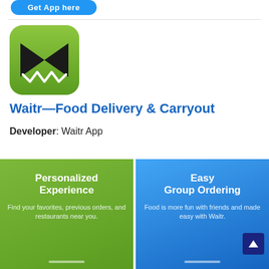[Figure (illustration): Blue rounded 'Get App here' button at the top of the page]
[Figure (logo): Waitr app icon: green rounded square with black bowtie/ribbon shape and white outline]
Waitr—Food Delivery & Carryout
Developer: Waitr App
[Figure (screenshot): Green card with text 'Personalized Experience' and subtext 'Find your favorites, previous orders, and restaurants near you.']
[Figure (screenshot): Blue card with text 'Easy Group Ordering' and subtext 'Food is more fun with friends and made easy with Waitr.']